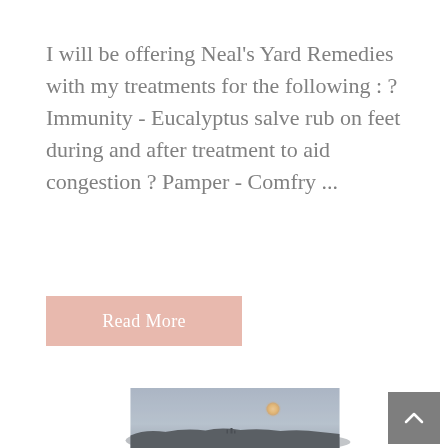I will be offering Neal's Yard Remedies with my treatments for the following : ? Immunity - Eucalyptus salve rub on feet during and after treatment to aid congestion ? Pamper - Comfry ...
[Figure (other): Button labeled 'Read More' with a salmon/pink background color]
[Figure (photo): A misty landscape photograph showing a large moon or sun in a grey-blue hazy sky above a dark silhouetted hillside or landscape]